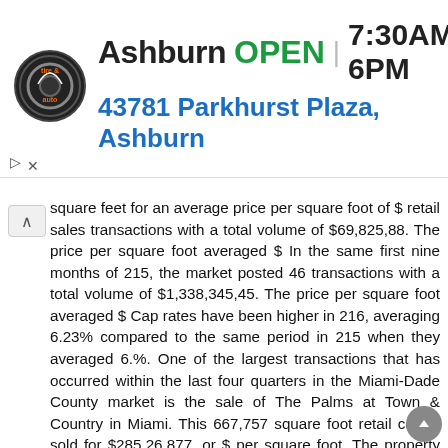[Figure (other): Advertisement banner: Ashburn tire & auto shop. Logo on left, text shows 'Ashburn OPEN | 7:30AM-6PM' and address '43781 Parkhurst Plaza, Ashburn', blue navigation arrow icon on right.]
square feet for an average price per square foot of $ retail sales transactions with a total volume of $69,825,88. The price per square foot averaged $ In the same first nine months of 215, the market posted 46 transactions with a total volume of $1,338,345,45. The price per square foot averaged $ Cap rates have been higher in 216, averaging 6.23% compared to the same period in 215 when they averaged 6.%. One of the largest transactions that has occurred within the last four quarters in the Miami-Dade County market is the sale of The Palms at Town & Country in Miami. This 667,757 square foot retail center sold for $285,26,877, or $ per square foot. The property sold on 7/29/216. Total retail center sales activity in 216 was down compared to 215. In the first nine months of 216, the market saw 33 GENERAL RETAIL MARKET STATISTICS Market Existing Inventory Vacancy # Blds Total GLA Direct SF Total SF Vac % YTD Net Absorption YTD Deliveries Under Const SF Quoted Rates